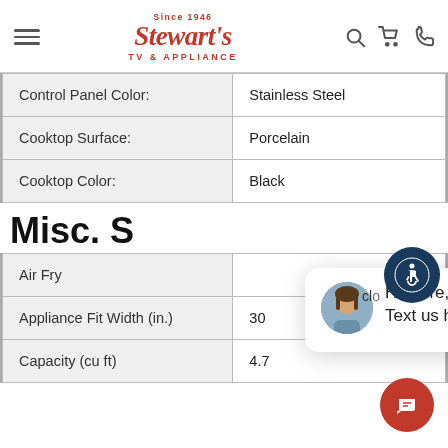Stewart's TV & Appliance — Since 1946
| Attribute | Value |
| --- | --- |
| Control Panel Color: | Stainless Steel |
| Cooktop Surface: | Porcelain |
| Cooktop Color: | Black |
Misc. S
| Attribute | Value |
| --- | --- |
| Air Fry |  |
| Appliance Fit Width (in.) | 30 |
| Capacity (cu ft) | 4.7 |
[Figure (other): Chat popup with avatar: Hi there, have a question? Text us here.]
[Figure (other): Accessibility icon button (wheelchair symbol)]
[Figure (other): Red chat FAB button]